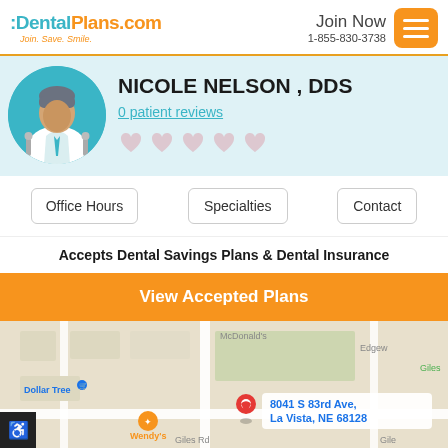:DentalPlans.com Join. Save. Smile. | Join Now 1-855-830-3738
NICOLE NELSON , DDS
0 patient reviews
Office Hours | Specialties | Contact
Accepts Dental Savings Plans & Dental Insurance
View Accepted Plans
[Figure (map): Google Maps screenshot showing 8041 S 83rd Ave, La Vista, NE 68128 with a red map pin. Nearby landmarks include Dollar Tree, Wendy's, McDonald's. Streets include Giles Rd.]